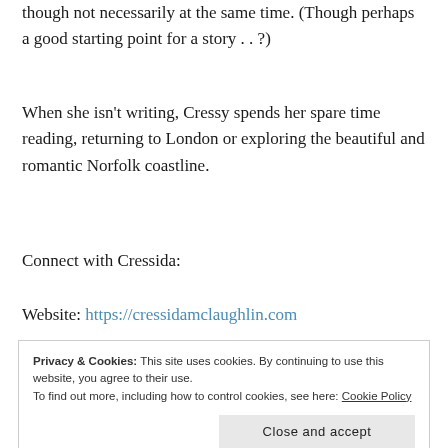though not necessarily at the same time. (Though perhaps a good starting point for a story . . ?)
When she isn’t writing, Cressy spends her spare time reading, returning to London or exploring the beautiful and romantic Norfolk coastline.
Connect with Cressida:
Website: https://cressidamclaughlin.com
Privacy & Cookies: This site uses cookies. By continuing to use this website, you agree to their use. To find out more, including how to control cookies, see here: Cookie Policy Close and accept